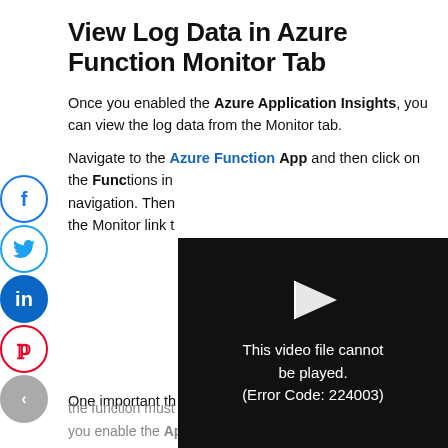View Log Data in Azure Function Monitor Tab
Once you enabled the Azure Application Insights, you can view the log data from the Monitor tab.
Navigate to the Azure Function App and then click on the Functions in navigation. Then the Monitor link t
[Figure (screenshot): Video player showing error: This video file cannot be played. (Error Code: 224003)]
One important th the function must be run at least once after you enable the Application Insights option.